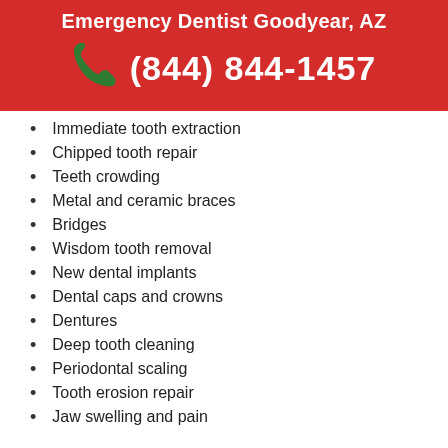Emergency Dentist Goodyear, AZ
(844) 844-1457
Immediate tooth extraction
Chipped tooth repair
Teeth crowding
Metal and ceramic braces
Bridges
Wisdom tooth removal
New dental implants
Dental caps and crowns
Dentures
Deep tooth cleaning
Periodontal scaling
Tooth erosion repair
Jaw swelling and pain